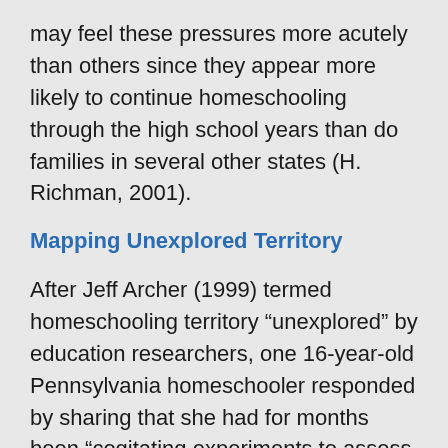may feel these pressures more acutely than others since they appear more likely to continue homeschooling through the high school years than do families in several other states (H. Richman, 2001).
Mapping Unexplored Territory
After Jeff Archer (1999) termed homeschooling territory “unexplored” by education researchers, one 16-year-old Pennsylvania homeschooler responded by sharing that she had for months been “cogitating experiments to assess the effects of homeschooling” (M. Richman, 2000, para. 5) since what researchers were